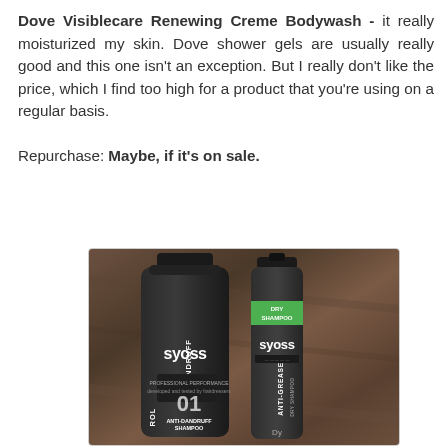Dove Visiblecare Renewing Creme Bodywash - it really moisturized my skin. Dove shower gels are usually really good and this one isn't an exception. But I really don't like the price, which I find too high for a product that you're using on a regular basis.

Repurchase: Maybe, if it's on sale.
[Figure (photo): Photo of two Syoss hair care products on a brown fabric background: a large dark bottle of Syoss Anti-Dandruff Control Shampoo (01) on the left, and a smaller aerosol can of Syoss Anti-Grease Dry Shampoo with a green label on the right.]